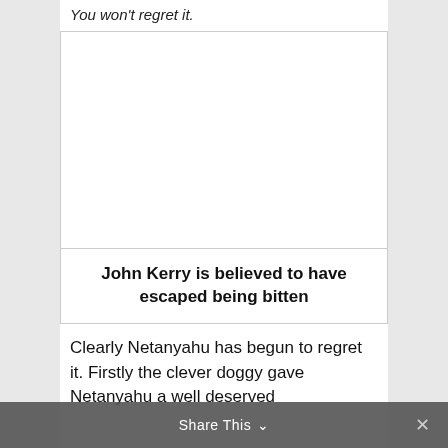You won't regret it.
[Figure (photo): White empty image box, placeholder for a photo]
John Kerry is believed to have escaped being bitten
Clearly Netanyahu has begun to regret it. Firstly the clever doggy gave Netanyahu a well deserved
Share This